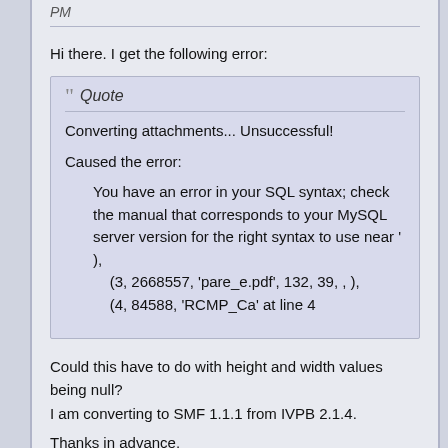PM
Hi there. I get the following error:
Quote
Converting attachments... Unsuccessful!

Caused the error:

You have an error in your SQL syntax; check the manual that corresponds to your MySQL server version for the right syntax to use near ' ),
(3, 2668557, 'pare_e.pdf', 132, 39, , ),
(4, 84588, 'RCMP_Ca' at line 4
Could this have to do with height and width values being null?
I am converting to SMF 1.1.1 from IVPB 2.1.4.

Thanks in advance.

Pete